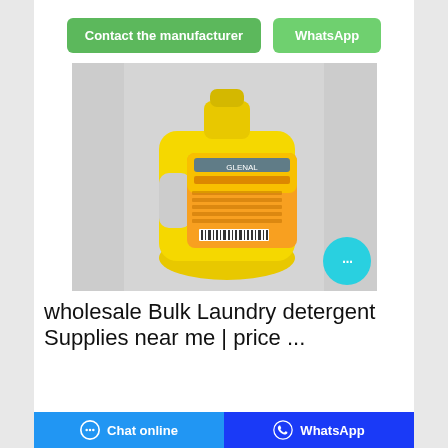[Figure (other): Two green buttons: 'Contact the manufacturer' and 'WhatsApp']
[Figure (photo): Yellow plastic laundry detergent bottle with orange and yellow label on a white/grey background. A cyan chat bubble button is overlaid at the bottom right.]
wholesale Bulk Laundry detergent Supplies near me | price ...
Chat online   WhatsApp